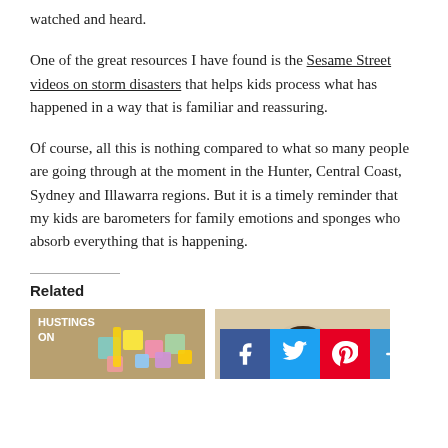watched and heard.
One of the great resources I have found is the Sesame Street videos on storm disasters that helps kids process what has happened in a way that is familiar and reassuring.
Of course, all this is nothing compared to what so many people are going through at the moment in the Hunter, Central Coast, Sydney and Illawarra regions. But it is a timely reminder that my kids are barometers for family emotions and sponges who absorb everything that is happening.
Related
[Figure (photo): Thumbnail image on left showing children's wooden blocks/toys on a cardboard background with text 'HUSTINGS ON']
[Figure (photo): Thumbnail image on right showing a cup of coffee or tea on a light background, partially obscured by social sharing buttons (Facebook, Twitter, Pinterest, plus)]